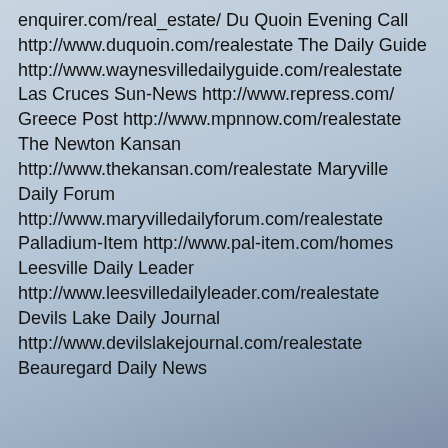enquirer.com/real_estate/ Du Quoin Evening Call http://www.duquoin.com/realestate The Daily Guide http://www.waynesvilledailyguide.com/realestate Las Cruces Sun-News http://www.repress.com/ Greece Post http://www.mpnnow.com/realestate The Newton Kansan http://www.thekansan.com/realestate Maryville Daily Forum http://www.maryvilledailyforum.com/realestate Palladium-Item http://www.pal-item.com/homes Leesville Daily Leader http://www.leesvilledailyleader.com/realestate Devils Lake Daily Journal http://www.devilslakejournal.com/realestate Beauregard Daily News